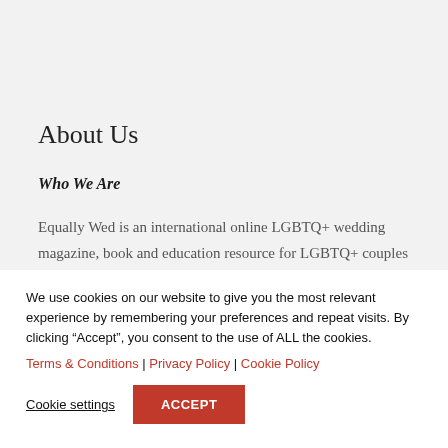About Us
Who We Are
Equally Wed is an international online LGBTQ+ wedding magazine, book and education resource for LGBTQ+ couples
We use cookies on our website to give you the most relevant experience by remembering your preferences and repeat visits. By clicking “Accept”, you consent to the use of ALL the cookies.
Terms & Conditions | Privacy Policy | Cookie Policy
Cookie settings ACCEPT